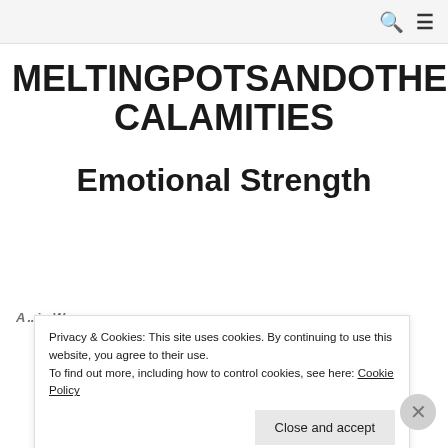MELTINGPOTSANDOTHER CALAMITIES
Emotional Strength
Privacy & Cookies: This site uses cookies. By continuing to use this website, you agree to their use.
To find out more, including how to control cookies, see here: Cookie Policy
Close and accept
Advertisements